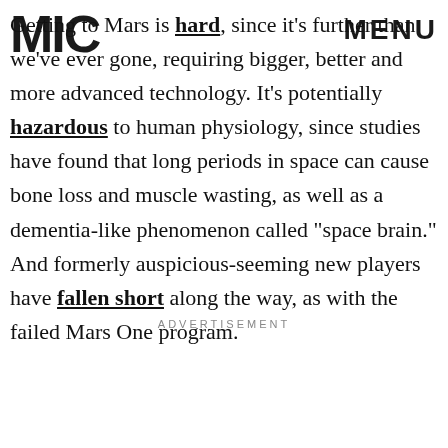MIC | MENU
Getting to Mars is hard, since it's further than we've ever gone, requiring bigger, better and more advanced technology. It's potentially hazardous to human physiology, since studies have found that long periods in space can cause bone loss and muscle wasting, as well as a dementia-like phenomenon called "space brain." And formerly auspicious-seeming new players have fallen short along the way, as with the failed Mars One program.
ADVERTISEMENT